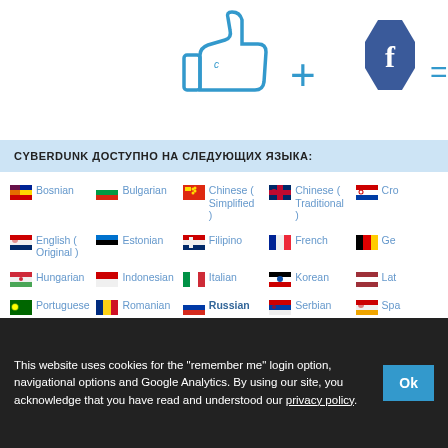[Figure (illustration): Social media icons: thumbs up + Facebook hexagon logo = speech bubble icon, in blue, partially cropped on right]
CYBERDUNK ДОСТУПНО НА СЛЕДУЮЩИХ ЯЗЫКА:
Bosnian
Bulgarian
Chinese (Simplified)
Chinese (Traditional)
Croatian
English (Original)
Estonian
Filipino
French
German
Hungarian
Indonesian
Italian
Korean
Latvian
Portuguese
Romanian
Russian
Serbian
Spanish
Vietnamese
This website uses cookies for the "remember me" login option, navigational options and Google Analytics. By using our site, you acknowledge that you have read and understood our privacy policy.